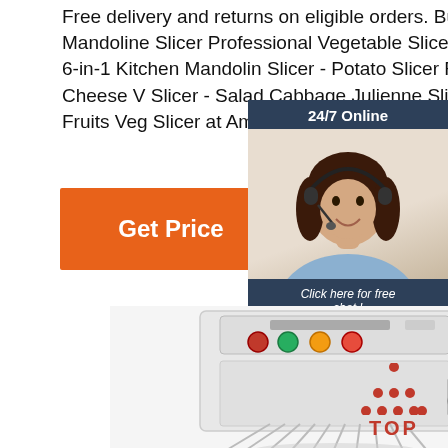Free delivery and returns on eligible orders. Buy Mandoline Slicer Professional Vegetable Slicer Spiralizer - 6-in-1 Kitchen Mandolin Slicer - Potato Slicer Food Slicer Cheese V Slicer - Salad Cabbage Julienne Slicer Zoodle Fruits Veg Slicer at Amazon UK.
Get Price
[Figure (photo): Customer service representative woman with headset smiling, next to a '24/7 Online' chat widget with a 'Click here for free chat!' message and 'QUOTATION' orange button]
[Figure (photo): Commercial dough spiral mixer machine, white color with control panel buttons]
[Figure (illustration): TOP icon with red dots arranged in triangle shape above the word TOP in red]